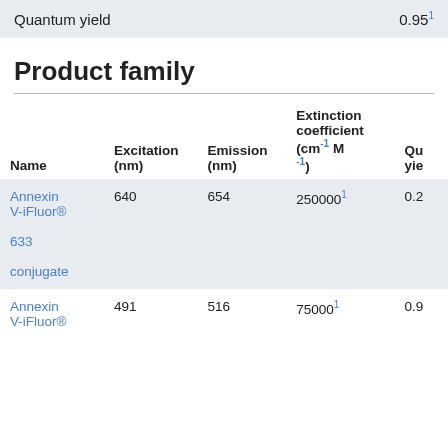|  |  |
| --- | --- |
| Quantum yield | 0.95¹ |
Product family
| Name | Excitation (nm) | Emission (nm) | Extinction coefficient (cm⁻¹ M⁻¹) | Quantum yield |
| --- | --- | --- | --- | --- |
| Annexin V-iFluor® 633 conjugate | 640 | 654 | 250000¹ | 0.2 |
| Annexin V-iFluor® | 491 | 516 | 75000¹ | 0.9 |